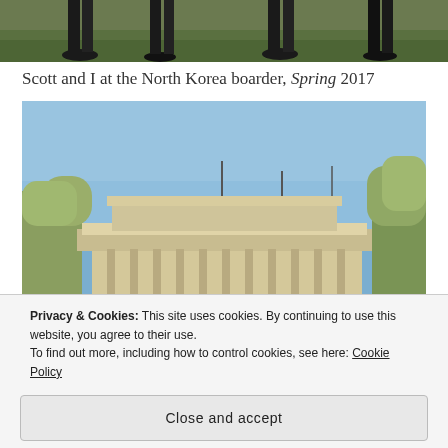[Figure (photo): Partial photo at the top of the page showing grass and feet/shoes of people standing]
Scott and I at the North Korea boarder, Spring 2017
[Figure (photo): Photo of a building at the North Korea border (DMZ area) with blue sky, trees, and a flat-roofed official-looking structure]
Privacy & Cookies: This site uses cookies. By continuing to use this website, you agree to their use.
To find out more, including how to control cookies, see here: Cookie Policy
Close and accept
[Figure (photo): Partial photo at the bottom showing people's faces]